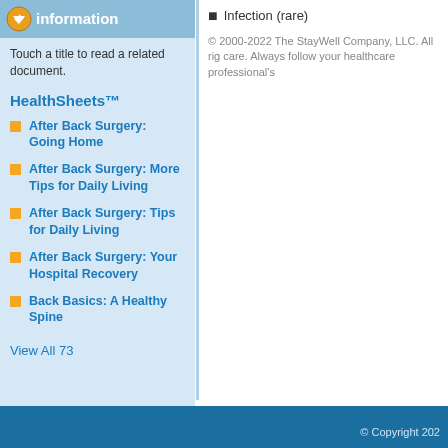information
Touch a title to read a related document.
HealthSheets™
After Back Surgery: Going Home
After Back Surgery: More Tips for Daily Living
After Back Surgery: Tips for Daily Living
After Back Surgery: Your Hospital Recovery
Back Basics: A Healthy Spine
View All 73
Infection (rare)
© 2000-2022 The StayWell Company, LLC. All rig care. Always follow your healthcare professional's
© Copyright 202